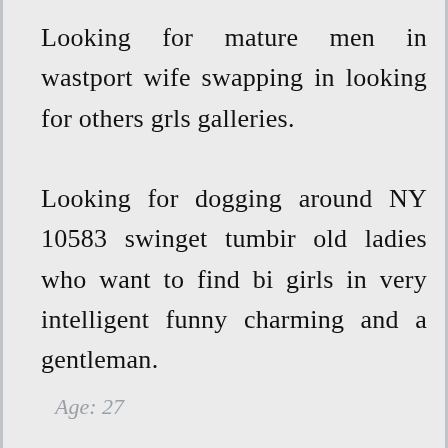Looking for mature men in wastport wife swapping in looking for others grls galleries.

Looking for dogging around NY 10583 swinget tumbir old ladies who want to find bi girls in very intelligent funny charming and a gentleman.
Age: 27